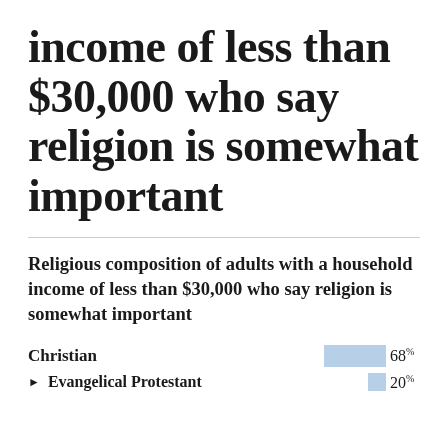income of less than $30,000 who say religion is somewhat important
Religious composition of adults with a household income of less than $30,000 who say religion is somewhat important
[Figure (bar-chart): Religious composition]